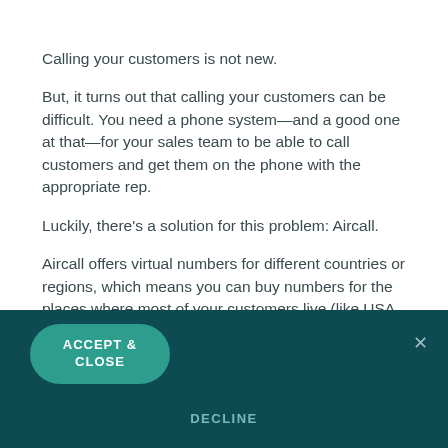Calling your customers is not new.
But, it turns out that calling your customers can be difficult. You need a phone system—and a good one at that—for your sales team to be able to call customers and get them on the phone with the appropriate rep.
Luckily, there's a solution for this problem: Aircall.
Aircall offers virtual numbers for different countries or regions, which means you can buy numbers for the places where most of your customers live (like USA, New Zealand or Australia). You can also use it to make it easy
ACCEPT & CLOSE
DECLINE